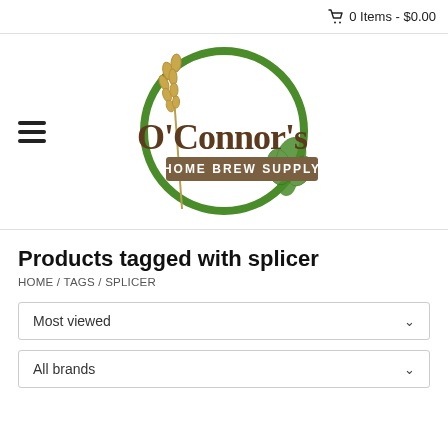0 Items - $0.00
[Figure (logo): O'Connor's Home Brew Supply logo with green circle, wheat stalk, hops, and brown lettering]
Products tagged with splicer
HOME / TAGS / SPLICER
Most viewed
All brands